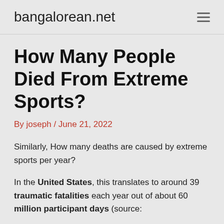bangalorean.net
How Many People Died From Extreme Sports?
By joseph / June 21, 2022
Similarly, How many deaths are caused by extreme sports per year?
In the United States, this translates to around 39 traumatic fatalities each year out of about 60 million participant days (source: